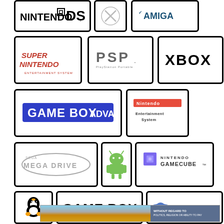[Figure (logo): Nintendo DS logo]
[Figure (logo): X mark / unknown logo]
[Figure (logo): Amiga logo]
[Figure (logo): Super Nintendo Entertainment System logo]
[Figure (logo): PSP PlayStation Portable logo]
[Figure (logo): Xbox logo]
[Figure (logo): Game Boy Advance logo]
[Figure (logo): Nintendo Entertainment System logo]
[Figure (logo): Sega Mega Drive logo]
[Figure (logo): Android logo]
[Figure (logo): Nintendo GameCube logo]
[Figure (logo): Linux penguin logo]
[Figure (logo): Game Boy logo]
[Figure (logo): Sega Saturn logo]
[Figure (photo): Advertisement banner with airplane cargo photo and text WITHOUT REGARD TO POLITICS, RELIGION OR ABILITY TO PAY]